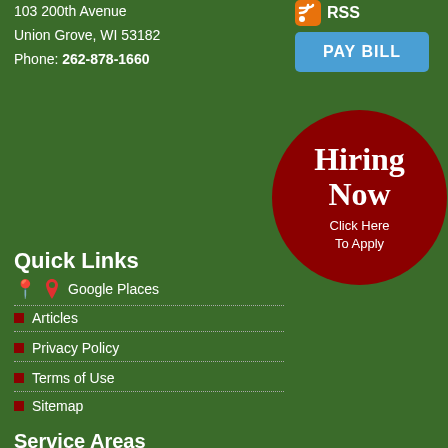103 200th Avenue
Union Grove, WI 53182
Phone: 262-878-1660
[Figure (logo): RSS icon (orange) with text RSS, and a blue Pay Bill button]
[Figure (infographic): Dark red circle badge with white text: Hiring Now Click Here To Apply]
Quick Links
Google Places
Articles
Privacy Policy
Terms of Use
Sitemap
Service Areas
Union Grove, WI  |  Racine, WI  |  Mount Pleasant, WI  |  Sturtevant, WI  |  Kenosha, WI  |  Caledonia, WI  |  Burlington, WI  |  Waterford, WI  |  Rochester, WI  |  Bristol, WI